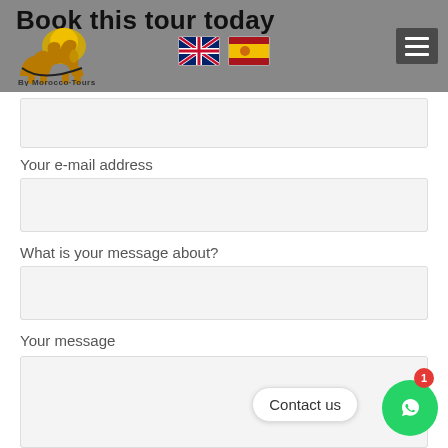Book this tour today
[Figure (logo): By Morocco Tours camel logo with website URL]
[Figure (illustration): UK flag and Spanish flag language selectors]
Your e-mail address
What is your message about?
Your message
Contact us